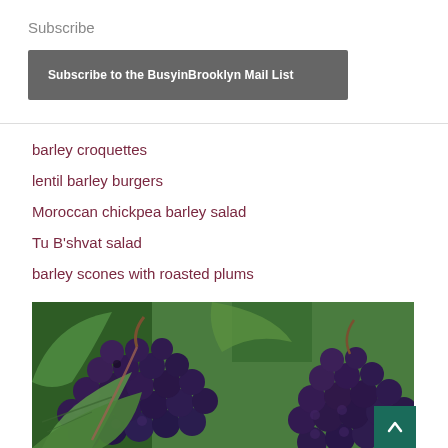Subscribe
Subscribe to the BusyinBrooklyn Mail List
barley croquettes
lentil barley burgers
Moroccan chickpea barley salad
Tu B'shvat salad
barley scones with roasted plums
[Figure (photo): Close-up photo of clusters of dark blue/purple grapes on a vine with green leaves visible in the background]